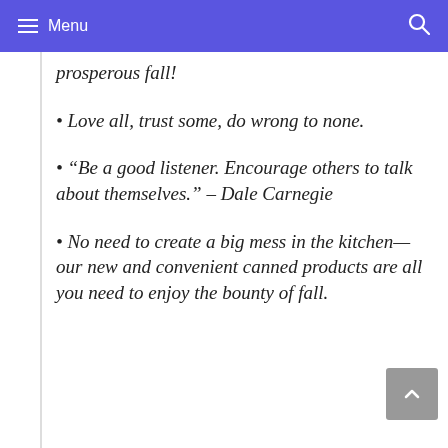Menu
prosperous fall!
• Love all, trust some, do wrong to none.
• “Be a good listener. Encourage others to talk about themselves.” – Dale Carnegie
• No need to create a big mess in the kitchen—our new and convenient canned products are all you need to enjoy the bounty of fall.